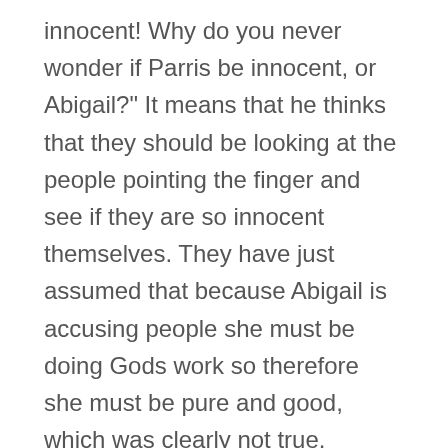innocent! Why do you never wonder if Parris be innocent, or Abigail?" It means that he thinks that they should be looking at the people pointing the finger and see if they are so innocent themselves. They have just assumed that because Abigail is accusing people she must be doing Gods work so therefore she must be pure and good, which was clearly not true.
Quote # 2: "Think you be so mighty that the power of Hell may not turn